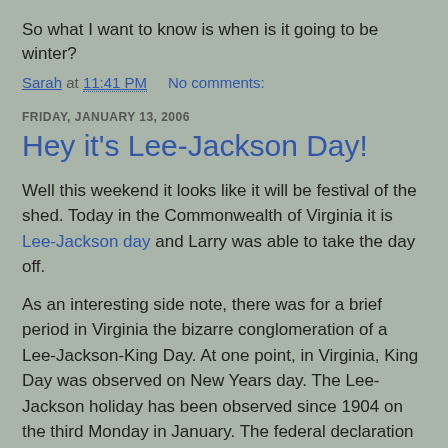So what I want to know is when is it going to be winter?
Sarah at 11:41 PM    No comments:
FRIDAY, JANUARY 13, 2006
Hey it's Lee-Jackson Day!
Well this weekend it looks like it will be festival of the shed. Today in the Commonwealth of Virginia it is Lee-Jackson day and Larry was able to take the day off.
As an interesting side note, there was for a brief period in Virginia the bizarre conglomeration of a Lee-Jackson-King Day. At one point, in Virginia, King Day was observed on New Years day. The Lee-Jackson holiday has been observed since 1904 on the third Monday in January. The federal declaration of MLK Day created the conflict of the two holidays as they both fell on the same day. In 2000 the two holidays were separated by moving the Lee-Jackson day forward three days to the Friday beforehand.